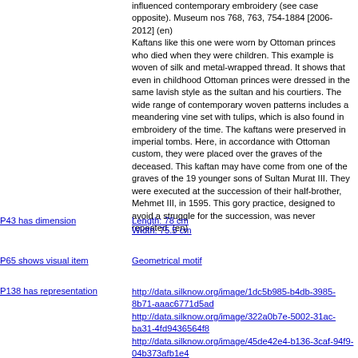influenced contemporary embroidery (see case opposite). Museum nos 768, 763, 754-1884 [2006-2012] (en) Kaftans like this one were worn by Ottoman princes who died when they were children. This example is woven of silk and metal-wrapped thread. It shows that even in childhood Ottoman princes were dressed in the same lavish style as the sultan and his courtiers. The wide range of contemporary woven patterns includes a meandering vine set with tulips, which is also found in embroidery of the time. The kaftans were preserved in imperial tombs. Here, in accordance with Ottoman custom, they were placed over the graves of the deceased. This kaftan may have come from one of the graves of the 19 younger sons of Sultan Murat III. They were executed at the succession of their half-brother, Mehmet III, in 1595. This gory practice, designed to avoid a struggle for the succession, was never repeated. (en)
P43 has dimension
Length: 78 cm
Width: 75.5 cm
P65 shows visual item
Geometrical motif
P138 has representation
http://data.silknow.org/image/1dc5b985-b4db-3985-8b71-aaac6771d5ad
http://data.silknow.org/image/322a0b7e-5002-31ac-ba31-4fd9436564f8
http://data.silknow.org/image/45de42e4-b136-3caf-94f9-04b373afb1e4